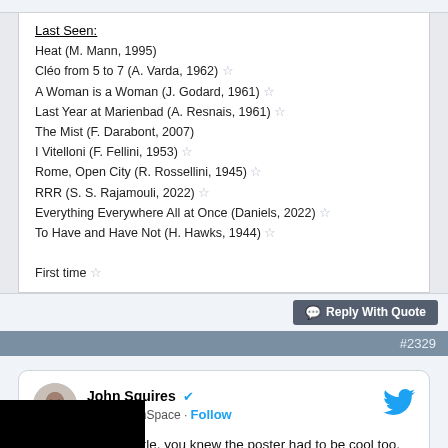Last Seen:
Heat (M. Mann, 1995)
Cléo from 5 to 7 (A. Varda, 1962) ☆
A Woman is a Woman (J. Godard, 1961) ☆
Last Year at Marienbad (A. Resnais, 1961) ☆
The Mist (F. Darabont, 2007)
I Vitelloni (F. Fellini, 1953) ☆
Rome, Open City (R. Rossellini, 1945) ☆
RRR (S. S. Rajamouli, 2022) ☆
Everything Everywhere All at Once (Daniels, 2022) ☆
To Have and Have Not (H. Hawks, 1944) ☆

First time ☆
Reply With Quote
#2329
John Squires @FreddyInSpace · Follow
With such a cool title, you knew the poster had to be cool too. Gunpowder Milkshake is